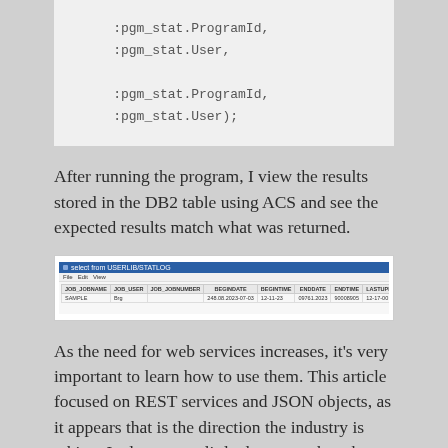:pgm_stat.ProgramId,
    :pgm_stat.User,

    :pgm_stat.ProgramId,
    :pgm_stat.User);
After running the program, I view the results stored in the DB2 table using ACS and see the expected results match what was returned.
[Figure (screenshot): Screenshot of ACS (Access Client Solutions) showing a DB2 table query result with column headers and one data row.]
As the need for web services increases, it's very important to learn how to use them. This article focused on REST services and JSON objects, as it appears that is the direction the industry is taking. It also went a little deeper to show how to pass header and body information to a web